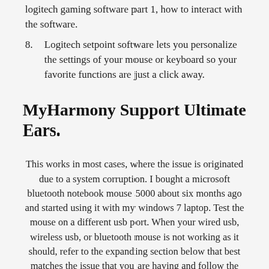logitech gaming software part 1, how to interact with the software.
8. Logitech setpoint software lets you personalize the settings of your mouse or keyboard so your favorite functions are just a click away.
MyHarmony Support Ultimate Ears.
This works in most cases, where the issue is originated due to a system corruption. I bought a microsoft bluetooth notebook mouse 5000 about six months ago and started using it with my windows 7 laptop. Test the mouse on a different usb port. When your wired usb, wireless usb, or bluetooth mouse is not working as it should, refer to the expanding section below that best matches the issue that you are having and follow the instructions. From logitech, setpoint lets you customize your mouse buttons, keyboard